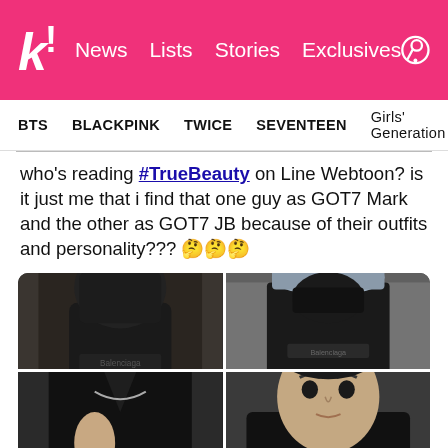k! News  Lists  Stories  Exclusives
BTS  BLACKPINK  TWICE  SEVENTEEN  Girls' Generation
who's reading #TrueBeauty on Line Webtoon? is it just me that i find that one guy as GOT7 Mark and the other as GOT7 JB because of their outfits and personality??? 🤔🤔🤔
[Figure (photo): 2x2 grid of images: top-left anime character in black Balenciaga outfit covering face, top-right real person in black Balenciaga outfit with cap and mask, bottom-left anime character in black outfit with jewelry, bottom-right real person in black hoodie looking at camera]